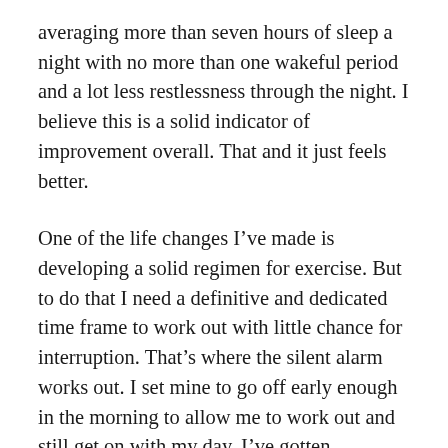averaging more than seven hours of sleep a night with no more than one wakeful period and a lot less restlessness through the night. I believe this is a solid indicator of improvement overall. That and it just feels better.
One of the life changes I've made is developing a solid regimen for exercise. But to do that I need a definitive and dedicated time frame to work out with little chance for interruption. That's where the silent alarm works out. I set mine to go off early enough in the morning to allow me to work out and still get on with my day. I've gotten absolutely no complaints from my spouse, except when I stumble around.